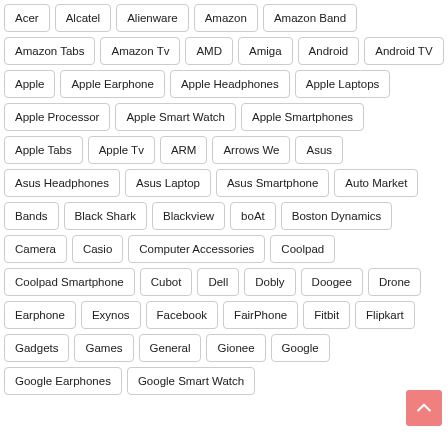Acer
Alcatel
Alienware
Amazon
Amazon Band
Amazon Tabs
Amazon Tv
AMD
Amiga
Android
Android TV
Apple
Apple Earphone
Apple Headphones
Apple Laptops
Apple Processor
Apple Smart Watch
Apple Smartphones
Apple Tabs
Apple Tv
ARM
Arrows We
Asus
Asus Headphones
Asus Laptop
Asus Smartphone
Auto Market
Bands
Black Shark
Blackview
boAt
Boston Dynamics
Camera
Casio
Computer Accessories
Coolpad
Coolpad Smartphone
Cubot
Dell
Dobly
Doogee
Drone
Earphone
Exynos
Facebook
FairPhone
Fitbit
Flipkart
Gadgets
Games
General
Gionee
Google
Google Earphones
Google Smart Watch